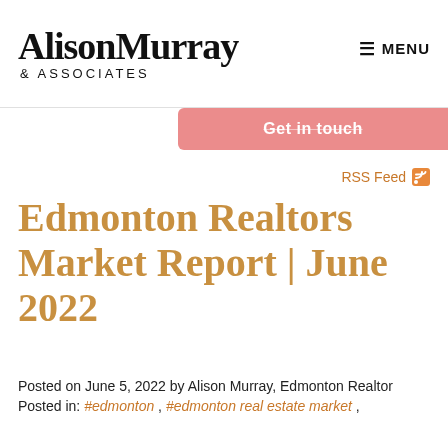AlisonMurray & ASSOCIATES | MENU
[Figure (other): Get in touch button (pink/salmon rounded rectangle)]
RSS Feed
Edmonton Realtors Market Report | June 2022
Posted on June 5, 2022 by Alison Murray, Edmonton Realtor
Posted in: #edmonton , #edmonton real estate market ,